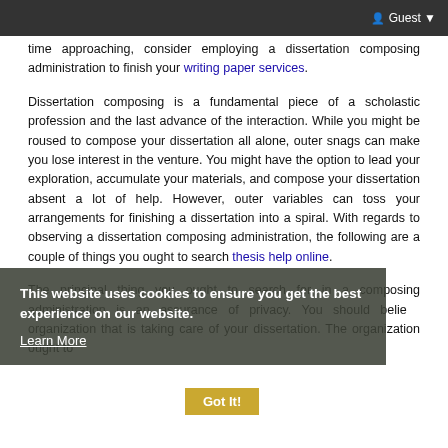Guest
time approaching, consider employing a dissertation composing administration to finish your writing paper services.
Dissertation composing is a fundamental piece of a scholastic profession and the last advance of the interaction. While you might be roused to compose your dissertation all alone, outer snags can make you lose interest in the venture. You might have the option to lead your exploration, accumulate your materials, and compose your dissertation absent a lot of help. However, outer variables can toss your arrangements for finishing a dissertation into a spiral. With regards to observing a dissertation composing administration, the following are a couple of things you ought to search thesis help online.
The principal thing you ought to search for in a composing administration is an assurance of privacy. You should believe organization that is taking care of your dissertation. The organization ought to
This website uses cookies to ensure you get the best experience on our website. Learn More
Got It!